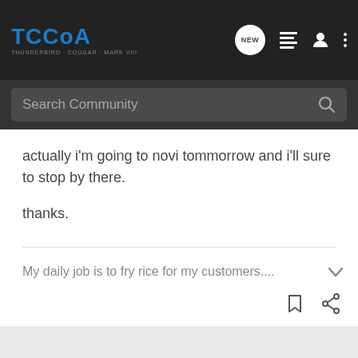TCCoA - THUNDERBIRD · COUGAR · MARK VIII
actually i'm going to novi tommorrow and i'll sure to stop by there.

thanks.
My daily job is to fry rice for my customers....